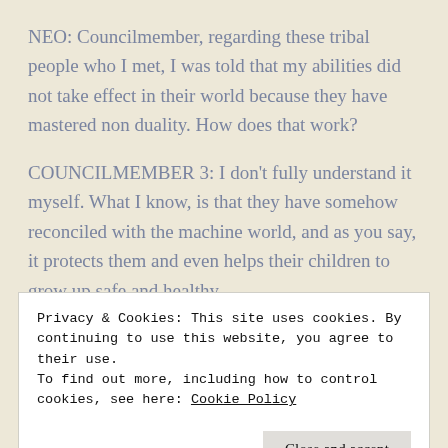NEO: Councilmember, regarding these tribal people who I met, I was told that my abilities did not take effect in their world because they have mastered non duality. How does that work?
COUNCILMEMBER 3: I don't fully understand it myself. What I know, is that they have somehow reconciled with the machine world, and as you say, it protects them and even helps their children to grow up safe and healthy.
Privacy & Cookies: This site uses cookies. By continuing to use this website, you agree to their use.
To find out more, including how to control cookies, see here: Cookie Policy
Neo, you must find these nomads again, and learn